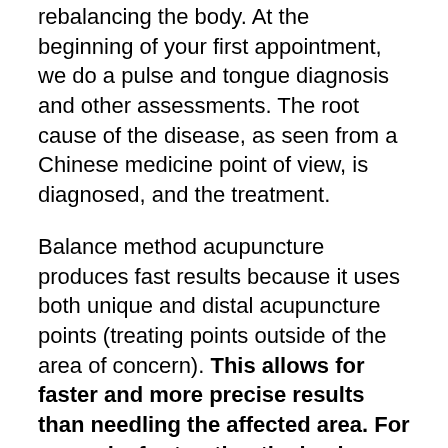rebalancing the body. At the beginning of your first appointment, we do a pulse and tongue diagnosis and other assessments. The root cause of the disease, as seen from a Chinese medicine point of view, is diagnosed, and the treatment.
Balance method acupuncture produces fast results because it uses both unique and distal acupuncture points (treating points outside of the area of concern). This allows for faster and more precise results than needling the affected area. For example, for treating the back, we